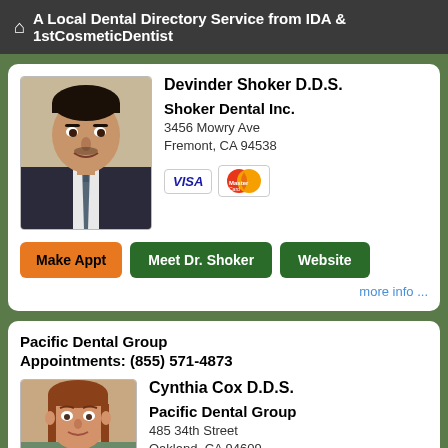🏠 A Local Dental Directory Service from IDA & 1stCosmeticDentist
[Figure (photo): Headshot photo of Devinder Shoker D.D.S., a man in a suit with a tie]
Devinder Shoker D.D.S.
Shoker Dental Inc.
3456 Mowry Ave
Fremont, CA 94538
[Figure (other): VISA and MasterCard payment icons]
Make Appt  Meet Dr. Shoker  Website
more info ...
Pacific Dental Group
Appointments: (855) 571-4873
[Figure (photo): Headshot photo of Cynthia Cox D.D.S., a woman with reddish-brown hair]
Cynthia Cox D.D.S.
Pacific Dental Group
485 34th Street
Oakland, CA 94609